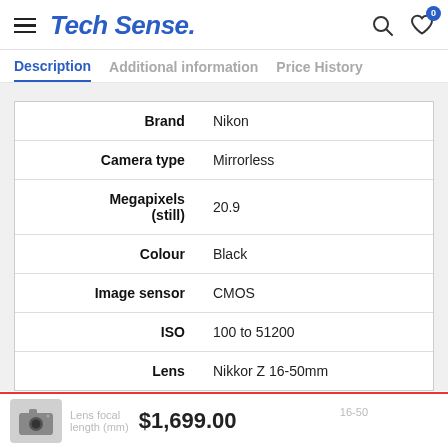Tech Sense.
Description  Additional information  Price History
| Attribute | Value |
| --- | --- |
| Brand | Nikon |
| Camera type | Mirrorless |
| Megapixels (still) | 20.9 |
| Colour | Black |
| Image sensor | CMOS |
| ISO | 100 to 51200 |
| Lens | Nikkor Z 16-50mm |
Lens focal length (mm)  16-50  $1,699.00